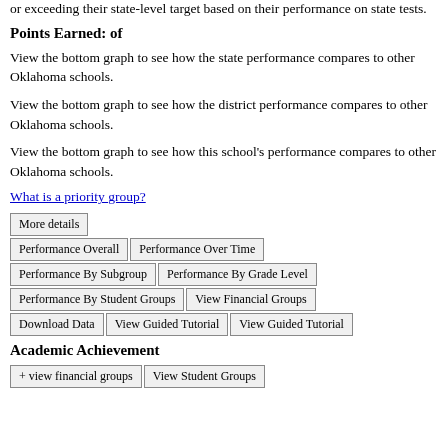or exceeding their state-level target based on their performance on state tests.
Points Earned: of
View the bottom graph to see how the state performance compares to other Oklahoma schools.
View the bottom graph to see how the district performance compares to other Oklahoma schools.
View the bottom graph to see how this school's performance compares to other Oklahoma schools.
What is a priority group?
More details
Performance Overall
Performance Over Time
Performance By Subgroup
Performance By Grade Level
Performance By Student Groups
View Financial Groups
Download Data
View Guided Tutorial
View Guided Tutorial
Academic Achievement
+ view financial groups
View Student Groups